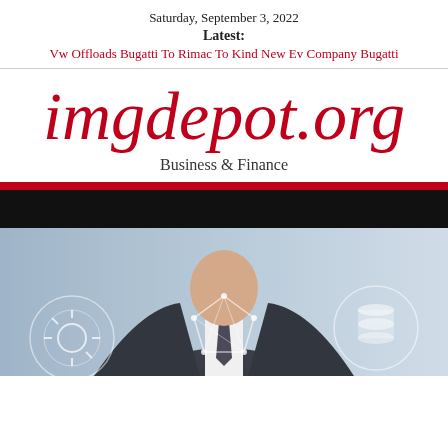Saturday, September 3, 2022
Latest:
Vw Offloads Bugatti To Rimac To Kind New Ev Company Bugatti
imgdepot.org
Business & Finance
[Figure (photo): Business professional in suit with digital network and data icons overlay]